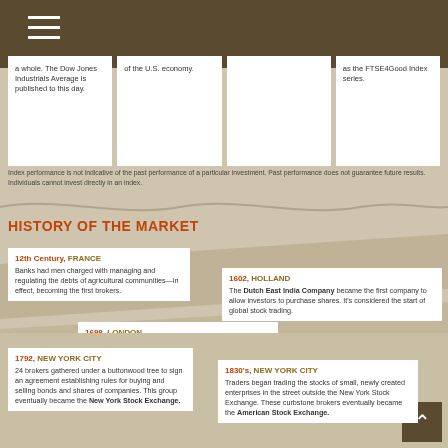a whole. The Dow Jones Industrials Average is published to this day.
of the U.S. economy.
as the FTSE4Good Index series.
Index performance is not indicative of the past performance of a particular investment. Past performance does not guarantee future results. Individuals cannot invest directly in an index.
HISTORY OF THE MARKET
[Figure (infographic): Timeline infographic showing history of the market with date-location cards]
12th Century, FRANCE
Banks had men charged with managing and regulating the debts of agricultural communities—in effect, becoming the first brokers.
1602, HOLLAND
The Dutch East India Company became the first company to allow investors to purchase shares. It's considered the start of global stock trading.
1698, LONDON
The London Stock Exchange traces its history to John Castaing, who issued a list of stock and commodity prices at a coffee house in London.
1792, NEW YORK CITY
24 brokers gathered under a buttonwood tree to sign an agreement establishing rules for buying and selling bonds and shares of companies. This group eventually became the New York Stock Exchange.
1830's, NEW YORK CITY
Traders began trading the stocks of small, newly created enterprises in the street outside the New York Stock Exchange. These curbstone brokers eventually became the American Stock Exchange.